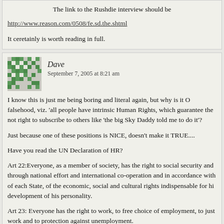The link to the Rushdie interview should be
http://www.reason.com/0508/fe.sd.the.shtml
It ceretainly is worth reading in full.
Dave
September 7, 2005 at 8:21 am
I know this is just me being boring and literal again, but why is it O falsehood, viz. 'all people have intrinsic Human Rights, which guarantee the not right to subscribe to others like 'the big Sky Daddy told me to do it'?
Just because one of these positions is NICE, doesn't make it TRUE....
Have you read the UN Declaration of HR?
Art 22:Everyone, as a member of society, has the right to social security and through national effort and international co-operation and in accordance with of each State, of the economic, social and cultural rights indispensable for hi development of his personality.
Art 23: Everyone has the right to work, to free choice of employment, to just work and to protection against unemployment.